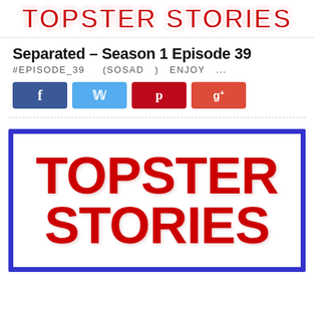TOPSTER STORIES
Separated – Season 1 Episode 39
#EPISODE_39    (SOSAD   )   ENJOY   ...
[Figure (infographic): Social media share buttons: Facebook (blue), Twitter (light blue), Pinterest (red), Google+ (red)]
[Figure (logo): Topster Stories logo — large red bold text 'TOPSTER STORIES' on white background inside a thick blue border]